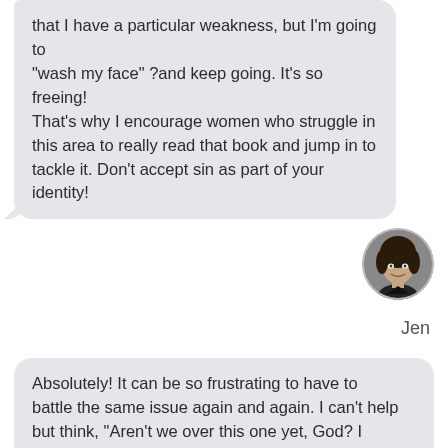that I have a particular weakness, but I'm going to “wash my face” ?and keep going. It’s so freeing! That’s why I encourage women who struggle in this area to really read that book and jump in to tackle it. Don’t accept sin as part of your identity!
[Figure (photo): Circular avatar photo of a woman with curly dark hair, smiling, black and white or dark photo]
Jen
Absolutely! It can be so frustrating to have to battle the same issue again and again. I can’t help but think, “Aren’t we over this one yet, God? I thought I dealt with all of that. Am I just not strong enough?”
But maybe he’s reminding me of this challenge again and again because there’s something deeper than what’s first been placed to still ri...